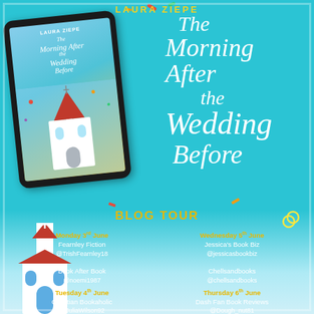LAURA ZIEPE
The Morning After the Wedding Before
[Figure (illustration): Tablet device showing book cover of 'The Morning After the Wedding Before' by Laura Ziepe, with illustration of a church and confetti. Partially overlapping church illustration in lower left.]
BLOG TOUR
Monday 3rd June
Fearnley Fiction
@TrishFearnley18

Book After Book
@noemi1987
Tuesday 4th June
Christian Bookaholic
@JuliaWilson92

Books Love Readers
@Bookslovereade1
Wednesday 5th June
Jessica's Book Biz
@jessicasbookbiz

Chellsandbooks
@chellsandbooks
Thursday 6th June
Dash Fan Book Reviews
@Dough_nut81

Ginger Bookgeek
@Ginger_bookgeek